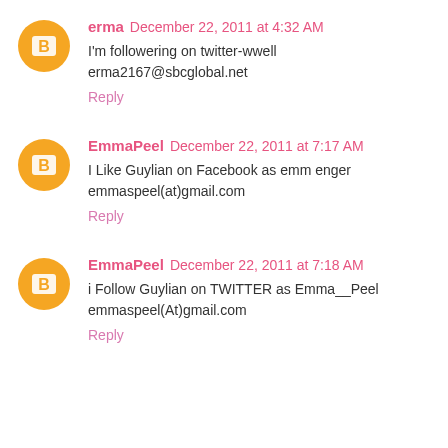erma December 22, 2011 at 4:32 AM
I'm followering on twitter-wwell
erma2167@sbcglobal.net
Reply
EmmaPeel December 22, 2011 at 7:17 AM
I Like Guylian on Facebook as emm enger
emmaspeel(at)gmail.com
Reply
EmmaPeel December 22, 2011 at 7:18 AM
i Follow Guylian on TWITTER as Emma__Peel
emmaspeel(At)gmail.com
Reply